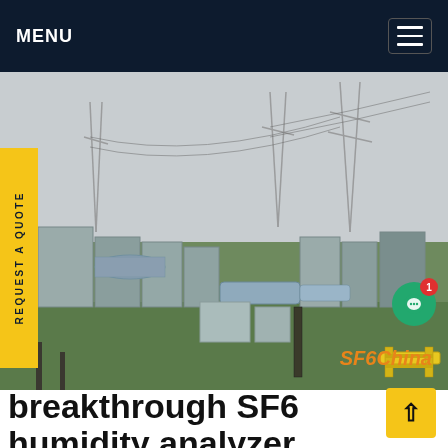MENU
[Figure (photo): Outdoor electrical substation with SF6 gas-insulated switchgear, transmission towers, and green lawn area. SF6China watermark in orange text at bottom right.]
REQUEST A QUOTE
breakthrough SF6 humidity analyzer